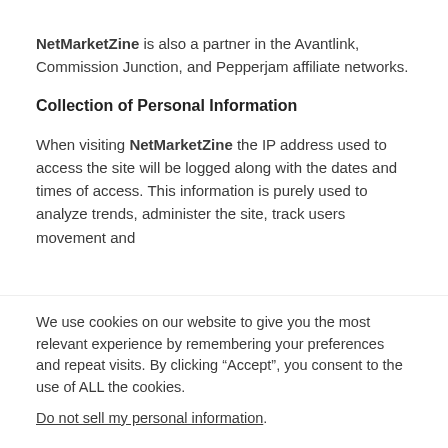NetMarketZine is also a partner in the Avantlink, Commission Junction, and Pepperjam affiliate networks.
Collection of Personal Information
When visiting NetMarketZine the IP address used to access the site will be logged along with the dates and times of access. This information is purely used to analyze trends, administer the site, track users movement and
We use cookies on our website to give you the most relevant experience by remembering your preferences and repeat visits. By clicking “Accept”, you consent to the use of ALL the cookies.
Do not sell my personal information.
Cookie Settings  Accept